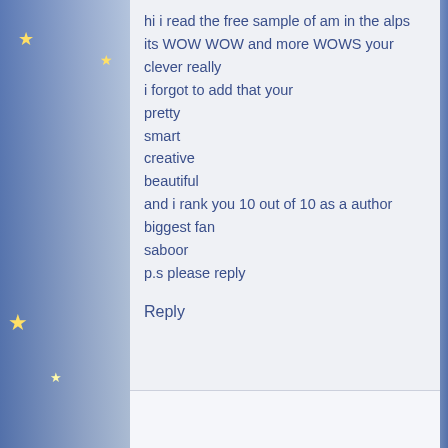hi i read the free sample of am in the alps its WOW WOW and more WOWS your clever really
i forgot to add that your
pretty
smart
creative
beautiful
and i rank you 10 out of 10 as a author
biggest fan
saboor
p.s please reply
Reply
Jacqueline Harvey says